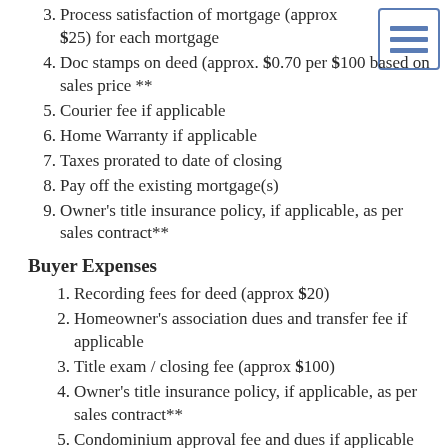3. Process satisfaction of mortgage (approx $25) for each mortgage
4. Doc stamps on deed (approx. $0.70 per $100 based on sales price **
5. Courier fee if applicable
6. Home Warranty if applicable
7. Taxes prorated to date of closing
8. Pay off the existing mortgage(s)
9. Owner's title insurance policy, if applicable, as per sales contract**
Buyer Expenses
1. Recording fees for deed (approx $20)
2. Homeowner's association dues and transfer fee if applicable
3. Title exam / closing fee (approx $100)
4. Owner's title insurance policy, if applicable, as per sales contract**
5. Condominium approval fee and dues if applicable
6. Survey at buyer's option if single family home (approx